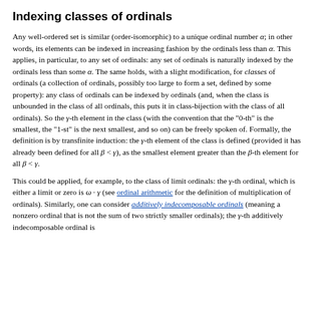Indexing classes of ordinals
Any well-ordered set is similar (order-isomorphic) to a unique ordinal number α; in other words, its elements can be indexed in increasing fashion by the ordinals less than α. This applies, in particular, to any set of ordinals: any set of ordinals is naturally indexed by the ordinals less than some α. The same holds, with a slight modification, for classes of ordinals (a collection of ordinals, possibly too large to form a set, defined by some property): any class of ordinals can be indexed by ordinals (and, when the class is unbounded in the class of all ordinals, this puts it in class-bijection with the class of all ordinals). So the γ-th element in the class (with the convention that the "0-th" is the smallest, the "1-st" is the next smallest, and so on) can be freely spoken of. Formally, the definition is by transfinite induction: the γ-th element of the class is defined (provided it has already been defined for all β < γ), as the smallest element greater than the β-th element for all β < γ.
This could be applied, for example, to the class of limit ordinals: the γ-th ordinal, which is either a limit or zero is ω · γ (see ordinal arithmetic for the definition of multiplication of ordinals). Similarly, one can consider additively indecomposable ordinals (meaning a nonzero ordinal that is not the sum of two strictly smaller ordinals); the γ-th additively indecomposable ordinal is...